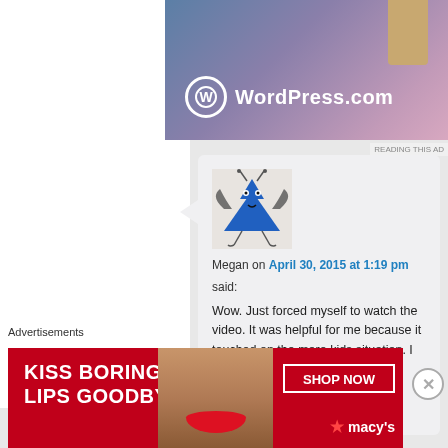[Figure (screenshot): WordPress.com advertisement banner with gradient blue-purple background and tan/beige vertical bar element]
READING THIS AD
[Figure (illustration): Blue cartoon monster/alien character with bat wings, antennae, big eyes, and thin legs — used as avatar]
Megan on April 30, 2015 at 1:19 pm
said:
Wow. Just forced myself to watch the video. It was helpful for me because it touched on the more kids situation. I am the
Advertisements
[Figure (screenshot): Macy's advertisement: KISS BORING LIPS GOODBYE with SHOP NOW button and Macy's star logo on red background with close-up of woman's face with red lipstick]